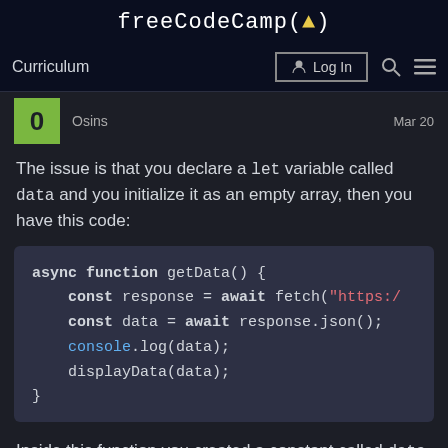freeCodeCamp(🔥)
Curriculum  Log In  🔍 ☰
0  Osins  Mar 20
The issue is that you declare a let variable called data and you initialize it as an empty array, then you have this code:
[Figure (screenshot): Code block showing async function getData() with const response = await fetch("https:/..."), const data = await response.json(), console.log(data), displayData(data), closing brace]
Inside this function you created a constant called data which shadows the global data variable so you create